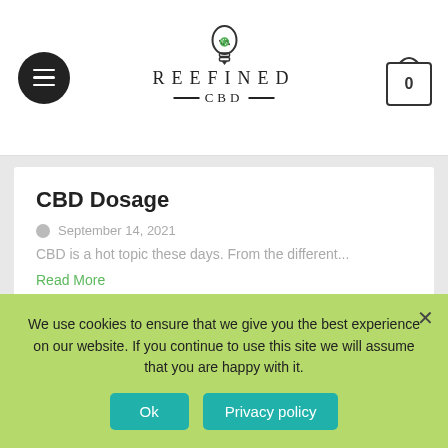REEFINED CBD
CBD Dosage
September 14, 2021
CBD is a hot topic these days. From the different...
Read More
What is CBG (Cannabigerol)?
September 13, 2021
We use cookies to ensure that we give you the best experience on our website. If you continue to use this site we will assume that you are happy with it.